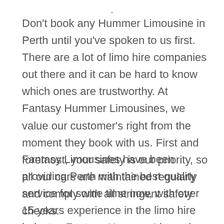.
Don't book any Hummer Limousine in Perth until you've spoken to us first.  There are a lot of limo hire companies out there and it can be hard to know which ones are trustworthy. At Fantasy Hummer Limousines, we value our customer's right from the moment they book with us. First and foremost, your safety is our priority, so all our cars are maintained regularly and comply with all stringent safety checks.
Fantasy Limousines have been providing Perth with the best quality service for some time now, with over 15 years experience in the limo hire industry. Fantasy Hummer Limousines prides itself on offering the customer a luxury limo and an excellent